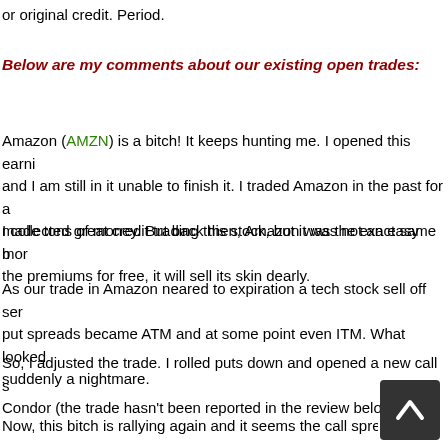or original credit. Period.
Below are my comments about our existing open trades:
Amazon (AMZN) is a bitch! It keeps hunting me. I opened this earni and I am still in it unable to finish it. I traded Amazon in the past for a made tons of money. But back then, Amazon was the exact same b
I collected great credit trading this stock, but it was not an easy mo the premiums for free, it will sell its skin dearly.
As our trade in Amazon neared to expiration a tech stock sell off se put spreads became ATM and at some point even ITM. What looke suddenly a nightmare.
So, I adjusted the trade. I rolled puts down and opened a new call s Condor (the trade hasn't been reported in the review belo
Now, this bitch is rallying again and it seems the call sprea con